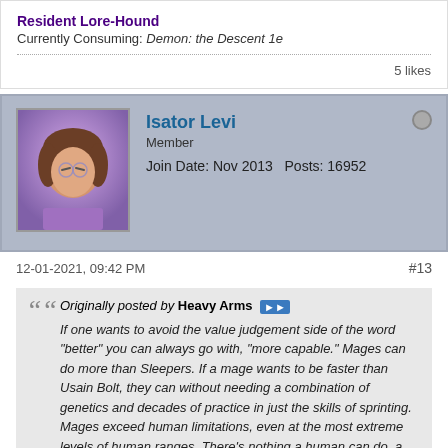Resident Lore-Hound
Currently Consuming: Demon: the Descent 1e
5 likes
Isator Levi
Member
Join Date: Nov 2013   Posts: 16952
12-01-2021, 09:42 PM
#13
Originally posted by Heavy Arms
If one wants to avoid the value judgement side of the word "better" you can always go with, "more capable." Mages can do more than Sleepers. If a mage wants to be faster than Usain Bolt, they can without needing a combination of genetics and decades of practice in just the skills of sprinting. Mages exceed human limitations, even at the most extreme levels of human ranges. There's nothing a human can do, a mage can't push themselves just a bit (or a whole damned lot) farther in a given metric.
I feel as though when a thing like this gets analysed in terms of